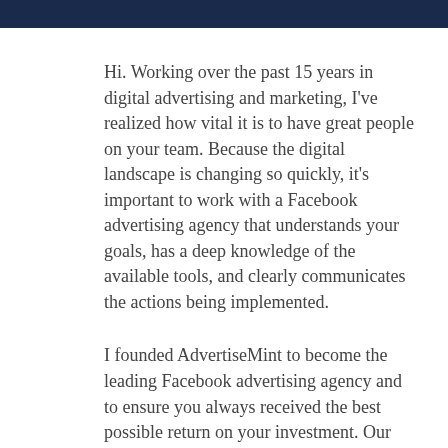[Figure (photo): Partial image/photo bar at the top of the page showing a dark blue header strip]
Hi. Working over the past 15 years in digital advertising and marketing, I've realized how vital it is to have great people on your team. Because the digital landscape is changing so quickly, it's important to work with a Facebook advertising agency that understands your goals, has a deep knowledge of the available tools, and clearly communicates the actions being implemented.
I founded AdvertiseMint to become the leading Facebook advertising agency and to ensure you always received the best possible return on your investment. Our friendly team is standing by and ready to ensure your campaigns are profitable. I